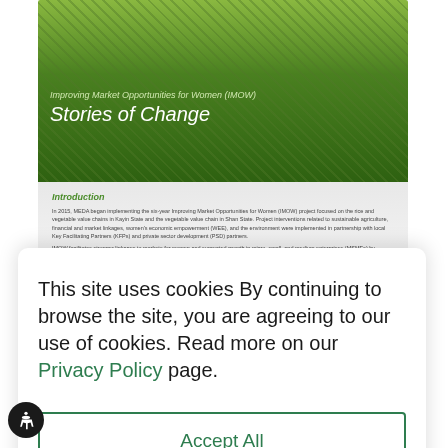[Figure (screenshot): Screenshot of a webpage showing the IMOW (Improving Market Opportunities for Women) Stories of Change document, partially obscured by a cookie consent modal. The top portion shows a green agricultural photo with white text overlay reading 'Improving Market Opportunities for Women (IMOW) Stories of Change'. Below is a document section with Introduction text. Over the bottom half is a white cookie consent modal.]
This site uses cookies By continuing to browse the site, you are agreeing to our use of cookies. Read more on our Privacy Policy page.
Accept All